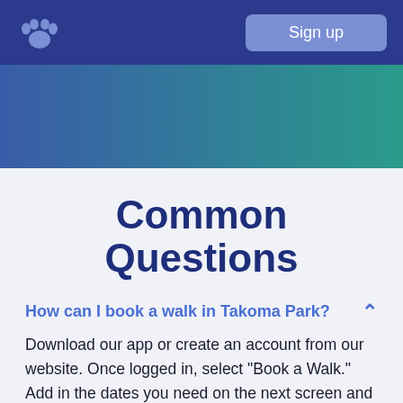Sign up
Common Questions
How can I book a walk in Takoma Park?
Download our app or create an account from our website. Once logged in, select "Book a Walk." Add in the dates you need on the next screen and select the duration and time you'd like us to arrive. Select or add the pet's you'd like us to walk on the next screen, and add in any important tasks you'd like for your walker to